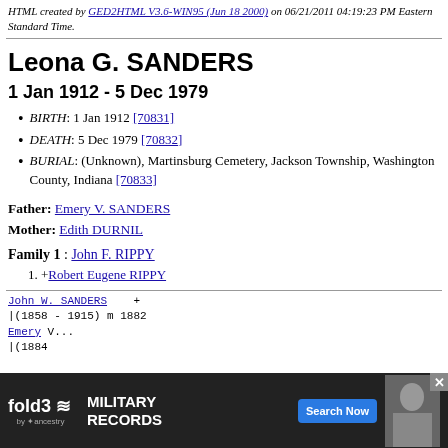HTML created by GED2HTML V3.6-WIN95 (Jun 18 2000) on 06/21/2011 04:19:23 PM Eastern Standard Time.
Leona G. SANDERS
1 Jan 1912 - 5 Dec 1979
BIRTH: 1 Jan 1912 [70831]
DEATH: 5 Dec 1979 [70832]
BURIAL: (Unknown), Martinsburg Cemetery, Jackson Township, Washington County, Indiana [70833]
Father: Emery V. SANDERS
Mother: Edith DURNIL
Family 1 : John F. RIPPY
1. +Robert Eugene RIPPY
[Figure (other): Genealogy chart showing John W. SANDERS (1858-1915) m 1882, with Emery branch (1884-)]
[Figure (other): fold3 Military Records advertisement banner with Search Now button]